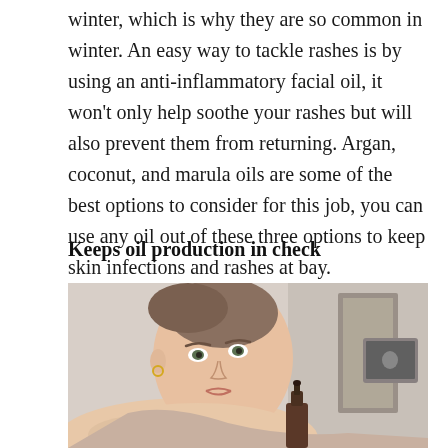winter, which is why they are so common in winter. An easy way to tackle rashes is by using an anti-inflammatory facial oil, it won't only help soothe your rashes but will also prevent them from returning. Argan, coconut, and marula oils are some of the best options to consider for this job, you can use any oil out of these three options to keep skin infections and rashes at bay.
Keeps oil production in check
[Figure (photo): Young woman with clear skin resting her head on her arm, holding a dropper bottle of facial oil. Background shows a room with a computer monitor.]